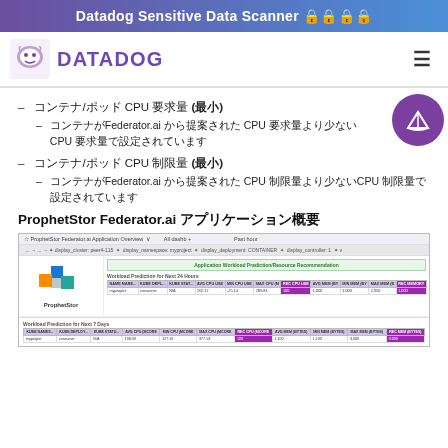Datadog Sensitive Data Scanner 🔒🔒🔒🔒
[Figure (logo): Datadog logo with dog mascot and purple DATADOG text, hamburger menu icon on the right]
– コンテナ/ポッド CPU 要求量 (最小)
– コンテナがFederator.ai から提案された CPU 要求量より少ないCPU 要求量で設定されています
– コンテナ/ポッド CPU 制限量 (最小)
– コンテナがFederator.ai から提案された CPU 制限量より少ないCPU 制限量で設定されています
ProphetStor Federator.ai アプリケーション概要
[Figure (screenshot): ProphetStor Federator.ai Application Overview screenshot showing workload prediction tables for next 24 hours and next 7 days with CPU and memory metrics]